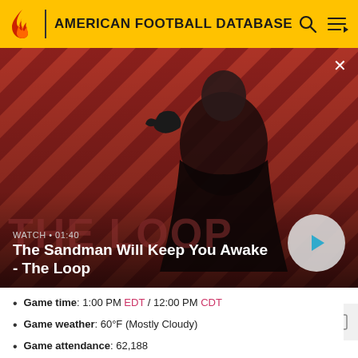AMERICAN FOOTBALL DATABASE
[Figure (screenshot): Video thumbnail showing a dark figure with a raven on their shoulder against a red striped background. Text reads WATCH · 01:40 and The Sandman Will Keep You Awake - The Loop. A play button circle is visible on the right.]
Game time: 1:00 PM EDT / 12:00 PM CDT
Game weather: 60°F (Mostly Cloudy)
Game attendance: 62,188
Referee: Pete Morelli
TV announcers (Fox): Sam Rosen, Tim Ryan, & Chris Myers